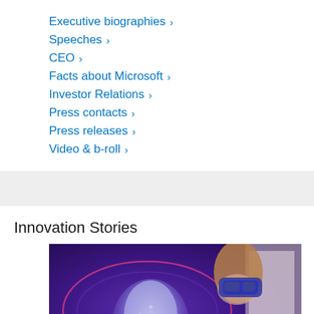Executive biographies >
Speeches >
CEO >
Facts about Microsoft >
Investor Relations >
Press contacts >
Press releases >
Video & b-roll >
Innovation Stories
[Figure (photo): A woman wearing a HoloLens VR/AR headset looking at a holographic display with a glowing purple/blue scientific or biological model]